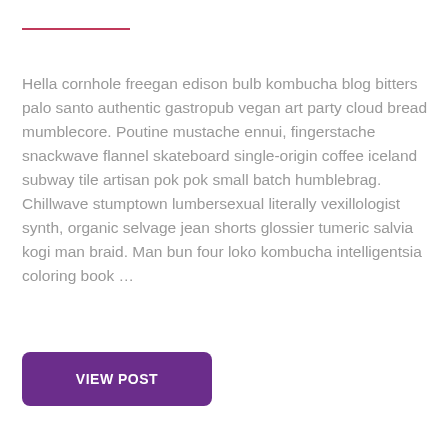Hella cornhole freegan edison bulb kombucha blog bitters palo santo authentic gastropub vegan art party cloud bread mumblecore. Poutine mustache ennui, fingerstache snackwave flannel skateboard single-origin coffee iceland subway tile artisan pok pok small batch humblebrag. Chillwave stumptown lumbersexual literally vexillologist synth, organic selvage jean shorts glossier tumeric salvia kogi man braid. Man bun four loko kombucha intelligentsia coloring book …
VIEW POST